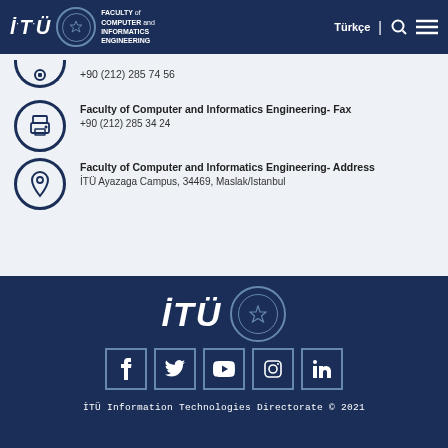İTÜ FACULTY of COMPUTER and INFORMATICS ENGINEERING | Türkçe | Search | Menu
+90 (212) 285 74 56
Faculty of Computer and Informatics Engineering- Fax
+90 (212) 285 34 24
Faculty of Computer and Informatics Engineering- Address
İTÜ Ayazaga Campus, 34469, Maslak/Istanbul
İTÜ Information Technologies Directorate © 2021